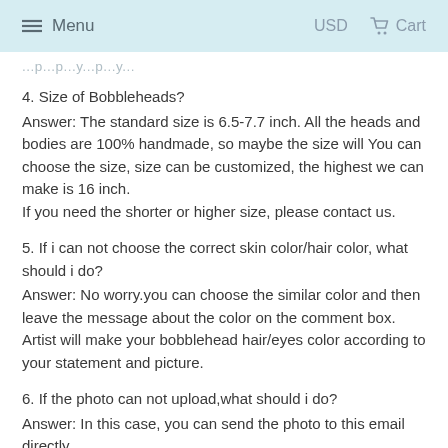Menu   USD   Cart
...p...p...y...p...y...
4. Size of Bobbleheads?
Answer: The standard size is 6.5-7.7 inch. All the heads and bodies are 100% handmade, so maybe the size will You can choose the size, size can be customized, the highest we can make is 16 inch.
If you need the shorter or higher size, please contact us.
5. If i can not choose the correct skin color/hair color, what should i do?
Answer: No worry.you can choose the similar color and then leave the message about the color on the comment box. Artist will make your bobblehead hair/eyes color according to your statement and picture.
6. If the photo can not upload,what should i do?
Answer: In this case, you can send the photo to this email directly.